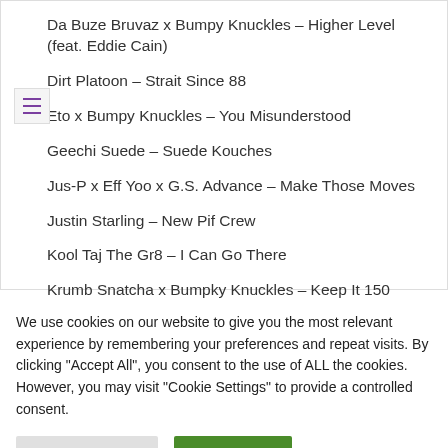Da Buze Bruvaz x Bumpy Knuckles – Higher Level (feat. Eddie Cain)
Dirt Platoon – Strait Since 88
Eto x Bumpy Knuckles – You Misunderstood
Geechi Suede – Suede Kouches
Jus-P x Eff Yoo x G.S. Advance – Make Those Moves
Justin Starling – New Pif Crew
Kool Taj The Gr8 – I Can Go There
Krumb Snatcha x Bumpky Knuckles – Keep It 150
We use cookies on our website to give you the most relevant experience by remembering your preferences and repeat visits. By clicking "Accept All", you consent to the use of ALL the cookies. However, you may visit "Cookie Settings" to provide a controlled consent.
Cookie Settings | Accept All